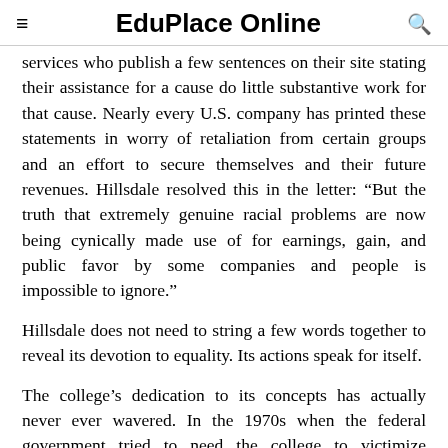EduPlace Online
services who publish a few sentences on their site stating their assistance for a cause do little substantive work for that cause. Nearly every U.S. company has printed these statements in worry of retaliation from certain groups and an effort to secure themselves and their future revenues. Hillsdale resolved this in the letter: “But the truth that extremely genuine racial problems are now being cynically made use of for earnings, gain, and public favor by some companies and people is impossible to ignore.”
Hillsdale does not need to string a few words together to reveal its devotion to equality. Its actions speak for itself.
The college’s dedication to its concepts has actually never ever wavered. In the 1970s when the federal government tried to need the college to victimize prospective trainees based on their race, the college refused. This indicated the loss of all federal financing to its trainees in addition to the organization. Hillsdale